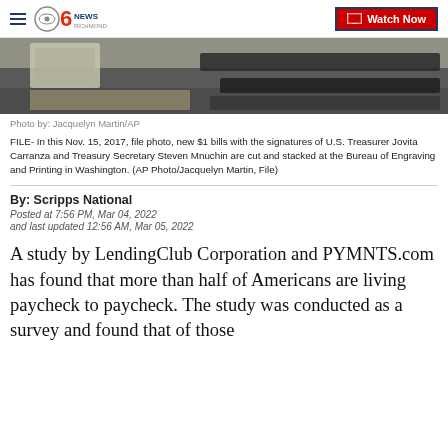CBS 6 NEWS RICHMOND — Watch Now
[Figure (photo): Partial view of $1 bills being cut and stacked at the Bureau of Engraving and Printing]
Photo by: Jacquelyn Martin/AP
FILE- In this Nov. 15, 2017, file photo, new $1 bills with the signatures of U.S. Treasurer Jovita Carranza and Treasury Secretary Steven Mnuchin are cut and stacked at the Bureau of Engraving and Printing in Washington. (AP Photo/Jacquelyn Martin, File)
By: Scripps National
Posted at 7:56 PM, Mar 04, 2022
and last updated 12:56 AM, Mar 05, 2022
A study by LendingClub Corporation and PYMNTS.com has found that more than half of Americans are living paycheck to paycheck. The study was conducted as a survey and found that of those